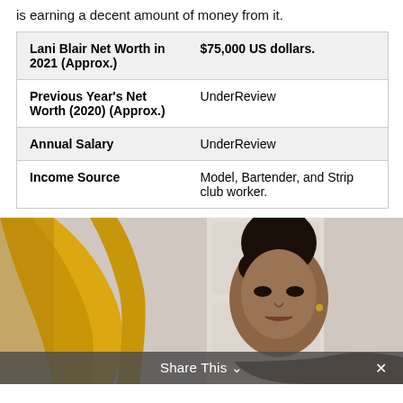is earning a decent amount of money from it.
| Lani Blair Net Worth in 2021 (Approx.) | $75,000 US dollars. |
| Previous Year's Net Worth (2020) (Approx.) | UnderReview |
| Annual Salary | UnderReview |
| Income Source | Model, Bartender, and Strip club worker. |
[Figure (photo): Photo of Lani Blair wearing a yellow long-sleeve outfit, posing with arm raised, hair in a bun, against a white door background.]
Share This ∨